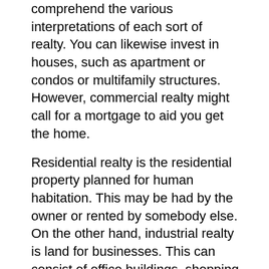comprehend the various interpretations of each sort of realty. You can likewise invest in houses, such as apartment or condos or multifamily structures. However, commercial realty might call for a mortgage to aid you get the home.
Residential realty is the residential property planned for human habitation. This may be had by the owner or rented by somebody else. On the other hand, industrial realty is land for businesses. This can consist of office buildings, shopping centers, dining establishments, and also various other businesses. Lastly, industrial realty refers to buildings used for manufacturing, warehousing, and also logistics. They are the most common types of realty. So, the inquiry is, what is your financial investment technique?